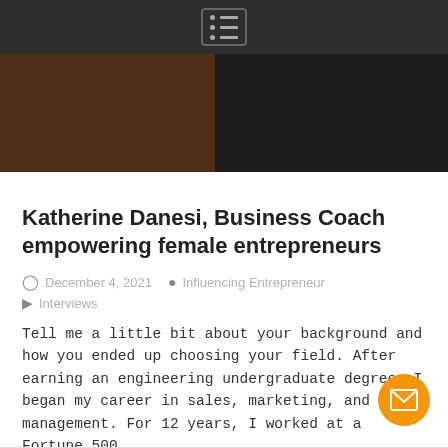Navigation menu
[Figure (photo): Header photo showing two people, left person in dark clothing against brick wall background, right person in dark coat]
Katherine Danesi, Business Coach empowering female entrepreneurs
December 4, 2021  Influencing Entrepreneur  Interviews
Tell me a little bit about your background and how you ended up choosing your field. After earning an engineering undergraduate degree, I began my career in sales, marketing, and management. For 12 years, I worked at a Fortune 500...